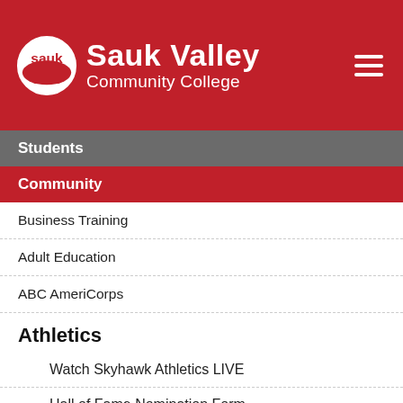Sauk Valley Community College
Students
Community
Business Training
Adult Education
ABC AmeriCorps
Athletics
Watch Skyhawk Athletics LIVE
Hall of Fame Nomination Form
About Skyhawk Athletics
Watch Skyhawk Athletics LIVE
Baseball
Men's Basketball
Team Outlook
Coaches
Rosters
2019-20